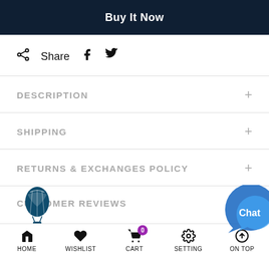Buy It Now
Share
DESCRIPTION
SHIPPING
RETURNS & EXCHANGES POLICY
CUSTOMER REVIEWS
HOME | WISHLIST | CART | SETTING | ON TOP